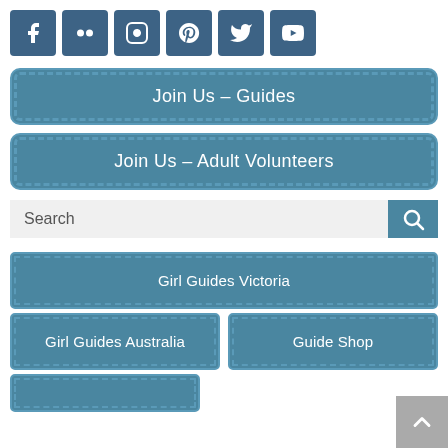[Figure (infographic): Row of 6 social media icon buttons: Facebook, Flickr, Instagram, Pinterest, Twitter, YouTube — all with dark teal square backgrounds and white icons]
Join Us - Guides
Join Us - Adult Volunteers
Search
Girl Guides Victoria
Girl Guides Australia
Guide Shop